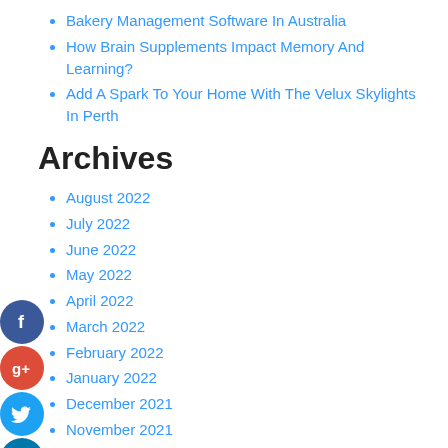Bakery Management Software In Australia
How Brain Supplements Impact Memory And Learning?
Add A Spark To Your Home With The Velux Skylights In Perth
Archives
August 2022
July 2022
June 2022
May 2022
April 2022
March 2022
February 2022
January 2022
December 2021
November 2021
October 2021